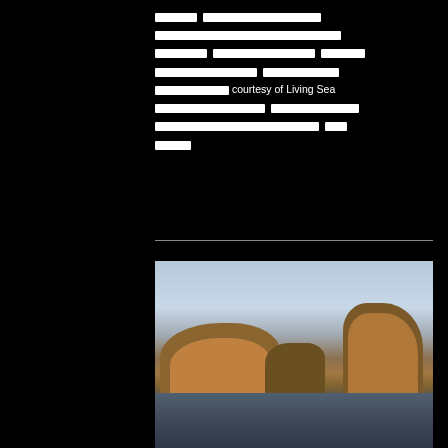[Redacted Thai/non-Latin text] courtesy of Living Sea [Redacted Thai/non-Latin text]
[Figure (photo): Photograph of rocky island formations rising from calm ocean water under a cloudy sky, with golden-orange sunlight illuminating the rock faces. The scene shows two main rock outcroppings with dark blue-grey water in the foreground.]